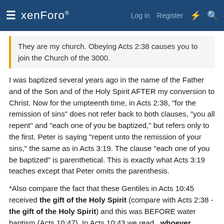xenForo  Log in  Register
They are my church. Obeying Acts 2:38 causes you to join the Church of the 3000.
I was baptized several years ago in the name of the Father and of the Son and of the Holy Spirit AFTER my conversion to Christ. Now for the umpteenth time, in Acts 2:38, "for the remission of sins" does not refer back to both clauses, "you all repent" and "each one of you be baptized," but refers only to the first. Peter is saying "repent unto the remission of your sins," the same as in Acts 3:19. The clause "each one of you be baptized" is parenthetical. This is exactly what Acts 3:19 teaches except that Peter omits the parenthesis.
*Also compare the fact that these Gentiles in Acts 10:45 received the gift of the Holy Spirit (compare with Acts 2:38 - the gift of the Holy Spirit) and this was BEFORE water baptism (Acts 10:47). In Acts 10:43 we read ..whoever believes in Him receives remission of sins. Again, these Gentiles received the gift of the Holy Spirit - Acts 10:45 - when they